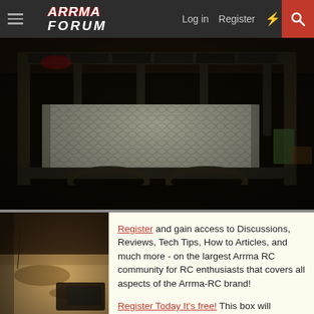ARRMA FORUM — Log in  Register
[Figure (photo): Close-up photo of an RC car chassis showing a metal mesh/honeycomb battery tray held in a dark roll cage frame, photographed from above at an angle in low light]
[Figure (photo): Bottom-left portion showing sandy ground with parts of an RC car visible]
Register and gain access to Discussions, Reviews, Tech Tips, How to Articles, and much more - on the largest Arrma RC community for RC enthusiasts that covers all aspects of the Arrma-RC brand!

Register Today It's free! This box will disappear once registered!